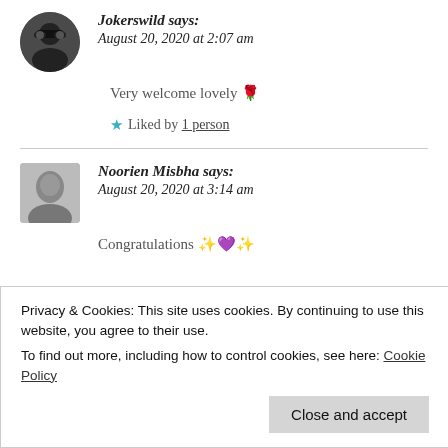[Figure (photo): Circular avatar photo of Jokerswild, a person wearing sunglasses]
Jokerswild says:
August 20, 2020 at 2:07 am
Very welcome lovely 🌹
★ Liked by 1 person
[Figure (photo): Square avatar photo of Noorien Misbha, a person in black and white]
Noorien Misbha says:
August 20, 2020 at 3:14 am
Congratulations ✨💜✨
Privacy & Cookies: This site uses cookies. By continuing to use this website, you agree to their use.
To find out more, including how to control cookies, see here: Cookie Policy
Close and accept